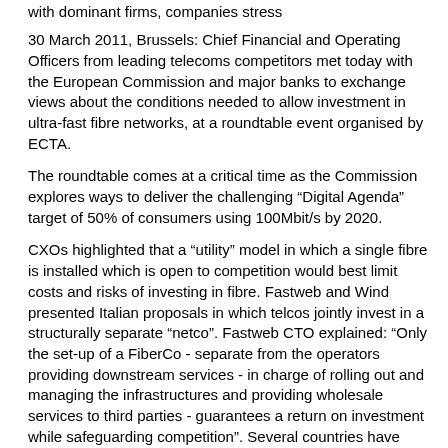with dominant firms, companies stress
30 March 2011, Brussels: Chief Financial and Operating Officers from leading telecoms competitors met today with the European Commission and major banks to exchange views about the conditions needed to allow investment in ultra-fast fibre networks, at a roundtable event organised by ECTA.
The roundtable comes at a critical time as the Commission explores ways to deliver the challenging “Digital Agenda” target of 50% of consumers using 100Mbit/s by 2020.
CXOs highlighted that a “utility” model in which a single fibre is installed which is open to competition would best limit costs and risks of investing in fibre. Fastweb and Wind presented Italian proposals in which telcos jointly invest in a structurally separate “netco”. Fastweb CTO explained: “Only the set-up of a FiberCo - separate from the operators providing downstream services - in charge of rolling out and managing the infrastructures and providing wholesale services to third parties - guarantees a return on investment while safeguarding competition”. Several countries have experimented with models in which telcos co-invest with local authorities or specialists in infrastructure.